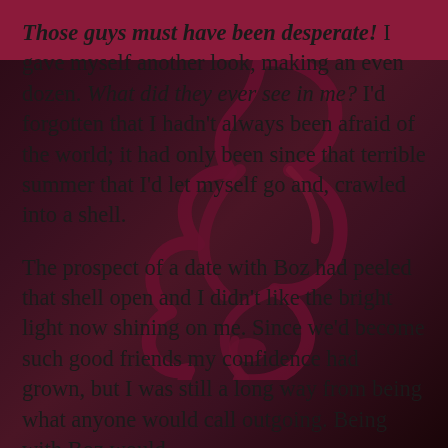Those guys must have been desperate! I gave myself another look, making an even dozen. What did they ever see in me? I'd forgotten that I hadn't always been afraid of the world; it had only been since that terrible summer that I'd let myself go and, crawled into a shell.

The prospect of a date with Boz had peeled that shell open and I didn't like the bright light now shining on me. Since we'd become such good friends my confidence had grown, but I was still a long way from being what anyone would call outgoing. Being with Boz would